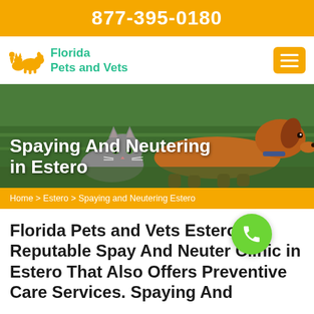877-395-0180
[Figure (logo): Florida Pets and Vets logo with orange pet silhouette and teal text]
[Figure (photo): Hero photo of a golden/red dachshund dog and a grey cat resting in green grass]
Spaying And Neutering in Estero
Home > Estero > Spaying and Neutering Estero
Florida Pets and Vets Estero is A Reputable Spay And Neuter Clinic in Estero That Also Offers Preventive Care Services. Spaying And